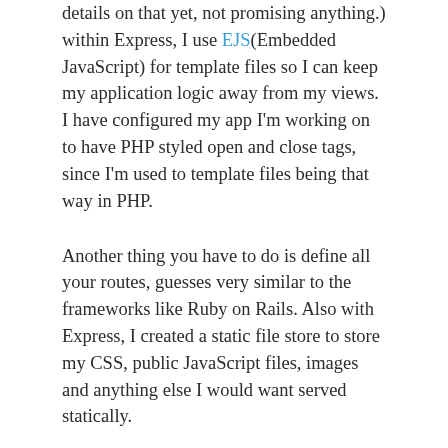details on that yet, not promising anything.) within Express, I use EJS(Embedded JavaScript) for template files so I can keep my application logic away from my views. I have configured my app I'm working on to have PHP styled open and close tags, since I'm used to template files being that way in PHP.
Another thing you have to do is define all your routes, guesses very similar to the frameworks like Ruby on Rails. Also with Express, I created a static file store to store my CSS, public JavaScript files, images and anything else I would want served statically.
Another thing I really love about Node.js is NPM(Node Package Manager). NPM is a package manager similar to apt-get that comes with Node.js. In the NPM, you can install modules, and publish modules. I've already wrote a few modules, to help me out on my own applications.